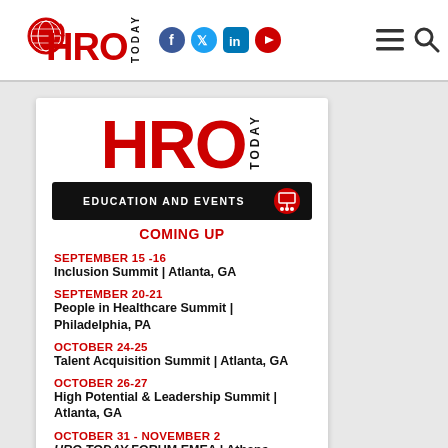HRO TODAY
[Figure (logo): HRO Today Education and Events Coming Up promotional card with logo, event dates and locations]
COMING UP
SEPTEMBER 15-16
Inclusion Summit | Atlanta, GA
SEPTEMBER 20-21
People in Healthcare Summit | Philadelphia, PA
OCTOBER 24-25
Talent Acquisition Summit | Atlanta, GA
OCTOBER 26-27
High Potential & Leadership Summit | Atlanta, GA
OCTOBER 31 - NOVEMBER 2
HRO TODAY FORUM EMEA | Athens, Greece
NOVEMBER 16-18
Employee Learning & Development Summit | San Diego, CA